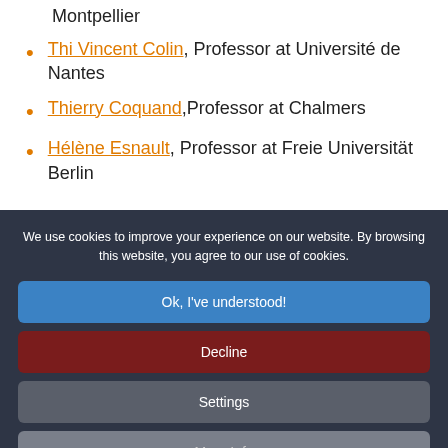Montpellier
Thi Vincent Colin, Professor at Université de Nantes
Thierry Coquand, Professor at Chalmers
Hélène Esnault, Professor at Freie Universität Berlin
We use cookies to improve your experience on our website. By browsing this website, you agree to our use of cookies.
Ok, I've understood!
Decline
Settings
More Info